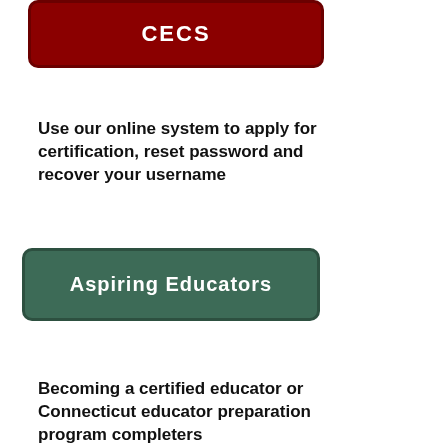[Figure (other): Dark red button with white bold text 'CECS']
Use our online system to apply for certification, reset password and recover your username
[Figure (other): Dark green button with white bold text 'Aspiring Educators']
Becoming a certified educator or Connecticut educator preparation program completers
[Figure (other): Blue button with white bold text 'CT Certified Educators']